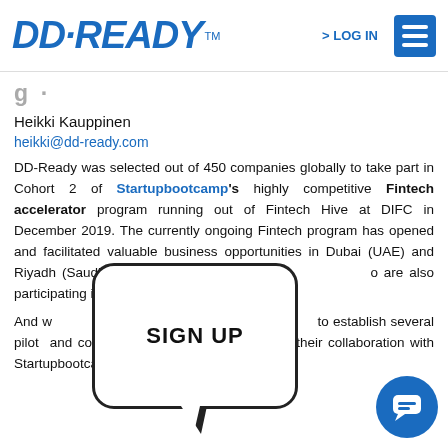DD READY™  > LOG IN  ☰
…
Heikki Kauppinen
heikki@dd-ready.com
DD-Ready was selected out of 450 companies globally to take part in Cohort 2 of Startupbootcamp's highly competitive Fintech accelerator program running out of Fintech Hive at DIFC in December 2019. The currently ongoing Fintech program has opened and facilitated valuable business opportunities in Dubai (UAE) and Riyadh (Saudi Arabia) for DD-Ready who are also participating in the program.
[Figure (other): SIGN UP speech bubble popup overlay]
And with Demo Day, DD-Ready is ready to establish several pilot and collaborations with global companies, like their collaboration with Startupbootcamp, where the COO